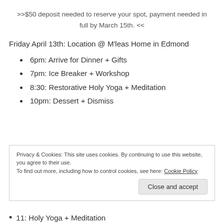>>$50 deposit needed to reserve your spot, payment needed in full by March 15th. <<
Friday April 13th: Location @ M'leas Home in Edmond
6pm: Arrive for Dinner + Gifts
7pm: Ice Breaker + Workshop
8:30: Restorative Holy Yoga + Meditation
10pm: Dessert + Dismiss
Privacy & Cookies: This site uses cookies. By continuing to use this website, you agree to their use. To find out more, including how to control cookies, see here: Cookie Policy
11: Holy Yoga + Meditation